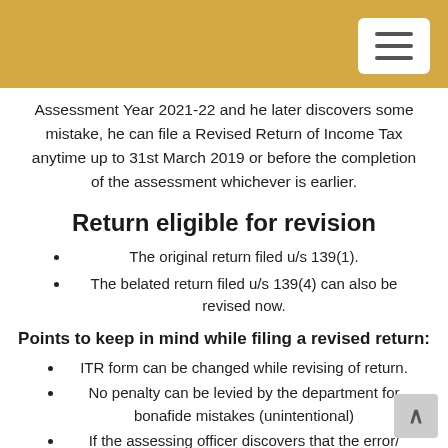Assessment Year 2021-22 and he later discovers some mistake, he can file a Revised Return of Income Tax anytime up to 31st March 2019 or before the completion of the assessment whichever is earlier.
Return eligible for revision
The original return filed u/s 139(1).
The belated return filed u/s 139(4) can also be revised now.
Points to keep in mind while filing a revised return:
ITR form can be changed while revising of return.
No penalty can be levied by the department for bonafide mistakes (unintentional)
If the assessing officer discovers that the error/ omission was intentional/fraudulent return revision of